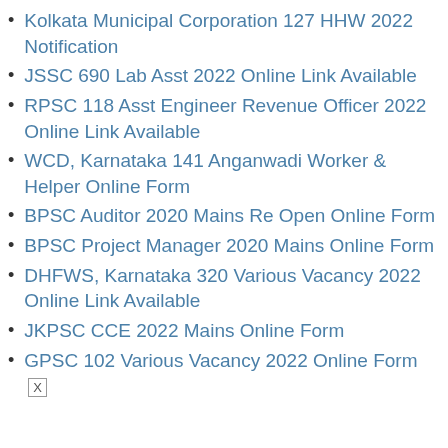Kolkata Municipal Corporation 127 HHW 2022 Notification
JSSC 690 Lab Asst 2022 Online Link Available
RPSC 118 Asst Engineer Revenue Officer 2022 Online Link Available
WCD, Karnataka 141 Anganwadi Worker & Helper Online Form
BPSC Auditor 2020 Mains Re Open Online Form
BPSC Project Manager 2020 Mains Online Form
DHFWS, Karnataka 320 Various Vacancy 2022 Online Link Available
JKPSC CCE 2022 Mains Online Form
GPSC 102 Various Vacancy 2022 Online Form